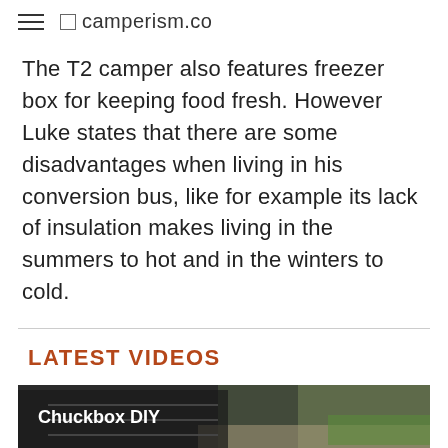camperism.co
The T2 camper also features freezer box for keeping food fresh. However Luke states that there are some disadvantages when living in his conversion bus, like for example its lack of insulation makes living in the summers to hot and in the winters to cold.
LATEST VIDEOS
[Figure (screenshot): Video thumbnail showing 'Chuckbox DIY' with outdoor/garage background and overlay text 'Chuckbox Guide'. Below the thumbnail is a video player control bar with a play button.]